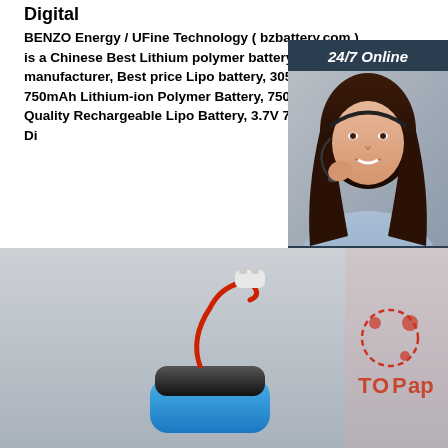Digital
BENZO Energy / UFine Technology ( bzbattery.com ) is a Chinese Best Lithium polymer battery manufacturer, Best price Lipo battery, 305050 3.7V 750mAh Lithium-ion Polymer Battery, 750mAh High Quality Rechargeable Lipo Battery, 3.7V 750mAh B Di
[Figure (photo): Customer service representative woman with headset, 24/7 Online chat widget with dark blue background, orange QUOTATION button]
[Figure (photo): Lithium polymer battery with red wire and white connector on gray background, with TOPap logo watermark]